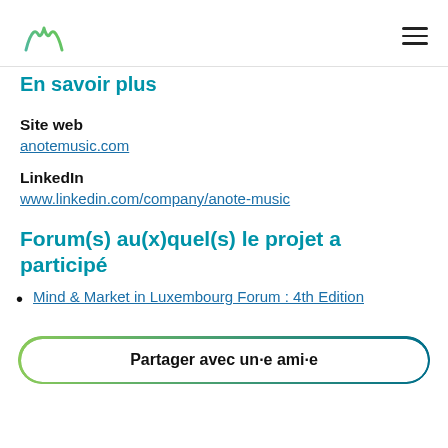[Figure (logo): Anote Music logo — stylized M shape in teal/green lines]
En savoir plus
Site web
anotemusic.com
LinkedIn
www.linkedin.com/company/anote-music
Forum(s) au(x)quel(s) le projet a participé
Mind & Market in Luxembourg Forum : 4th Edition
Partager avec un·e ami·e